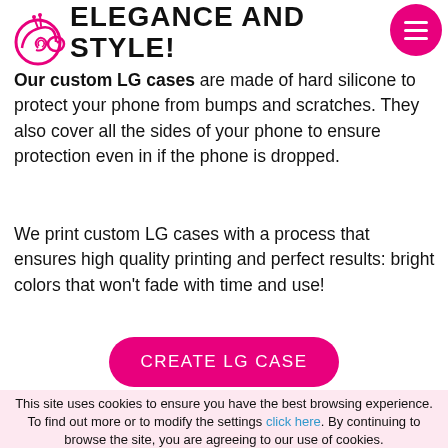ELEGANCE AND STYLE!
[Figure (logo): Chameleon/snail logo icon in pink outline style]
Our custom LG cases are made of hard silicone to protect your phone from bumps and scratches. They also cover all the sides of your phone to ensure protection even in if the phone is dropped.
We print custom LG cases with a process that ensures high quality printing and perfect results: bright colors that won't fade with time and use!
CREATE LG CASE
This site uses cookies to ensure you have the best browsing experience. To find out more or to modify the settings click here. By continuing to browse the site, you are agreeing to our use of cookies.
OK, CLOSE